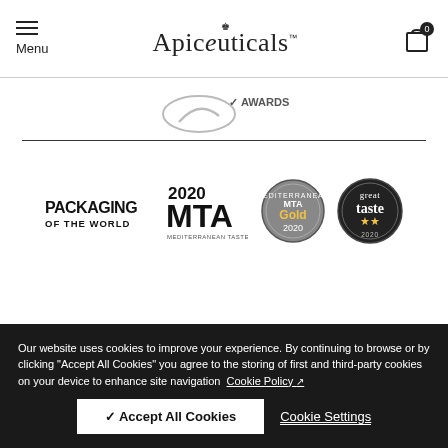Menu | Apiceuticals™ | Cart (0)
[Figure (logo): Partially visible logos row (cropped at top)]
[Figure (logo): PACKAGING OF THE WORLD logo]
[Figure (logo): 2020 MTA Mediterranean Taste Awards logo]
[Figure (logo): MTA Gold 2020 medal seal]
[Figure (logo): Great Taste 2-star award logo]
Our website uses cookies to improve your experience. By continuing to browse or by clicking "Accept All Cookies" you agree to the storing of first and third-party cookies on your device to enhance site navigation  Cookie Policy ↗
✓ Accept All Cookies
Cookie Settings